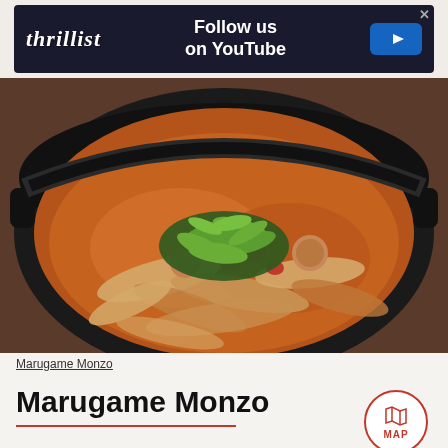[Figure (photo): Thrillist advertisement banner with dark background, Thrillist logo on left, 'Follow us on YouTube' text with blue YouTube play button]
[Figure (photo): Close-up photo of a Japanese hot pot dish (nabeyaki udon or similar) served in a black iron pot, with wide flat noodles, meat, vegetables in a rich brown broth, topped with chopped green onions]
Marugame Monzo
Marugame Monzo